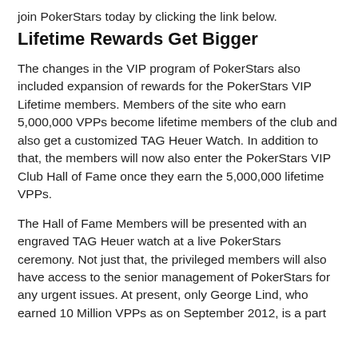join PokerStars today by clicking the link below.
Lifetime Rewards Get Bigger
The changes in the VIP program of PokerStars also included expansion of rewards for the PokerStars VIP Lifetime members. Members of the site who earn 5,000,000 VPPs become lifetime members of the club and also get a customized TAG Heuer Watch. In addition to that, the members will now also enter the PokerStars VIP Club Hall of Fame once they earn the 5,000,000 lifetime VPPs.
The Hall of Fame Members will be presented with an engraved TAG Heuer watch at a live PokerStars ceremony. Not just that, the privileged members will also have access to the senior management of PokerStars for any urgent issues. At present, only George Lind, who earned 10 Million VPPs as on September 2012, is a part